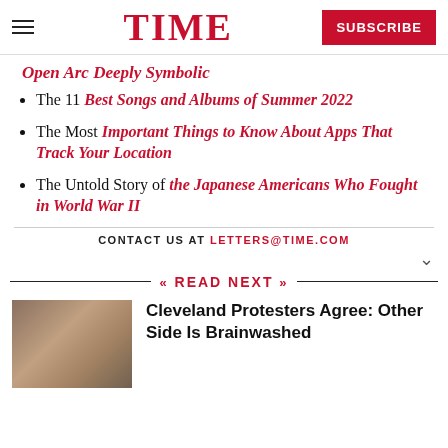TIME | SUBSCRIBE
Open Arc Deeply Symbolic (partial, linked)
The 11 Best Songs and Albums of Summer 2022
The Most Important Things to Know About Apps That Track Your Location
The Untold Story of the Japanese Americans Who Fought in World War II
CONTACT US AT LETTERS@TIME.COM
READ NEXT
Cleveland Protesters Agree: Other Side Is Brainwashed